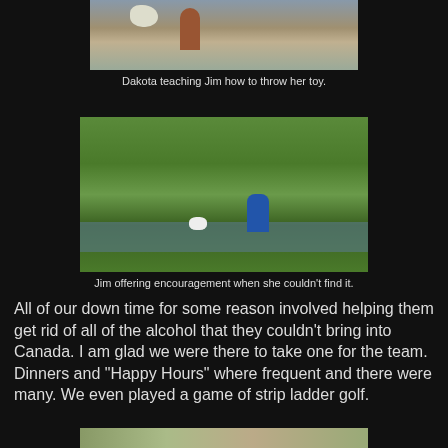[Figure (photo): Outdoor photo of a white dog and a person standing near water, casting shadows on sandy/dirt ground.]
Dakota teaching Jim how to throw her toy.
[Figure (photo): Outdoor photo showing dense green vegetation and a creek or wetland. A person in a blue shirt stands at right, and a small white dog is visible in the water on the left.]
Jim offering encouragement when she couldn't find it.
All of our down time for some reason involved helping them get rid of all of the alcohol that they couldn't bring into Canada. I am glad we were there to take one for the team. Dinners and "Happy Hours" where frequent and there were many. We even played a game of strip ladder golf.
[Figure (photo): Partial bottom photo showing a campsite or RV area with trees and vehicles.]